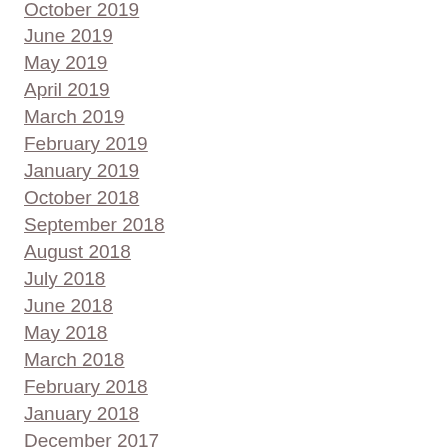October 2019
June 2019
May 2019
April 2019
March 2019
February 2019
January 2019
October 2018
September 2018
August 2018
July 2018
June 2018
May 2018
March 2018
February 2018
January 2018
December 2017
November 2017
September 2017